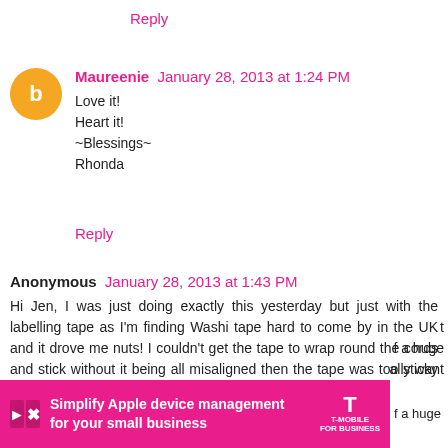Reply
Maureenie  January 28, 2013 at 1:24 PM
Love it!
Heart it!
~Blessings~
Rhonda
Reply
Anonymous  January 28, 2013 at 1:43 PM
Hi Jen, I was just doing exactly this yesterday but just with the labelling tape as I'm finding Washi tape hard to come by in the UK and it drove me nuts! I couldn't get the tape to wrap round the cords and stick without it being all misaligned then the tape was too sticky to try and tweak it into place. So my question - is Washi tape easier to handle t... f a huge ... ally want
[Figure (infographic): T-Mobile for Business advertisement banner: pink background with 'Simplify Apple device management for your small business' text and T-Mobile for Business logo]